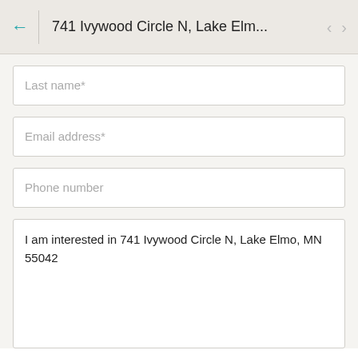741 Ivywood Circle N, Lake Elm...
Last name*
Email address*
Phone number
I am interested in 741 Ivywood Circle N, Lake Elmo, MN 55042
Yes, I want insights on home buying and selling sent to my email.